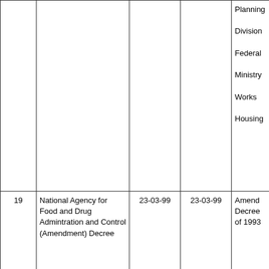| # | Name | Date1 | Date2 | Details |
| --- | --- | --- | --- | --- |
|  |  |  |  | Planning Division Federal Ministry Works Housing |
| 19 | National Agency for Food and Drug Admintration and Control (Amendment) Decree | 23-03-99 | 23-03-99 | Amend Decree of 1993 |
| 20 | Drugs and Related Products (Registration,Etc.) (Amendment)Decree | 23-03-99 | 23-03-99 | Amend Decree of 1993 |
| 21 | Food and Drugs(Amendment) | 23-03-99 | 23-03-99 | Amend Cap.15 |